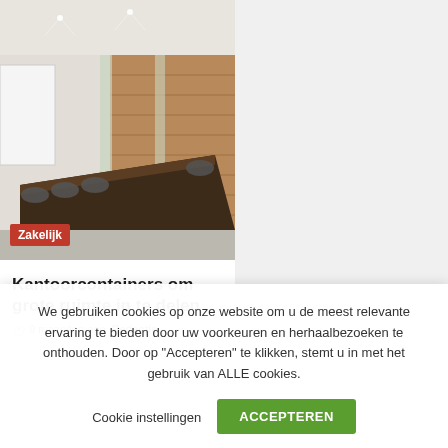[Figure (photo): Conference room with a long dark wooden table, black office chairs, brick accent walls, glass partitions, white ceiling with spotlights, and a projector screen on the left.]
Kantoorcontainers om grote ruimte in te delen
9 maanden ago  Redactie
We gebruiken cookies op onze website om u de meest relevante ervaring te bieden door uw voorkeuren en herhaalbezoeken te onthouden. Door op "Accepteren" te klikken, stemt u in met het gebruik van ALLE cookies.
Cookie instellingen  ACCEPTEREN